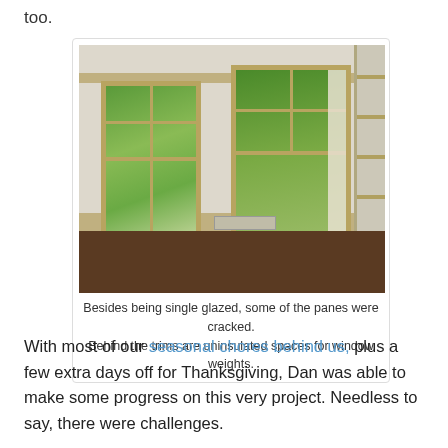too.
[Figure (photo): Interior room photo showing two double-hung windows with yellow/tan wood trim on a white wall, green trees visible outside, dark wood floor, and built-in shelves on the right side. A floor vent is visible near the center-bottom.]
Besides being single glazed, some of the panes were cracked. Behind the trims are uninsulated spaces for window weights.
With most of our seasonal chores behind us, plus a few extra days off for Thanksgiving, Dan was able to make some progress on this very project. Needless to say, there were challenges.